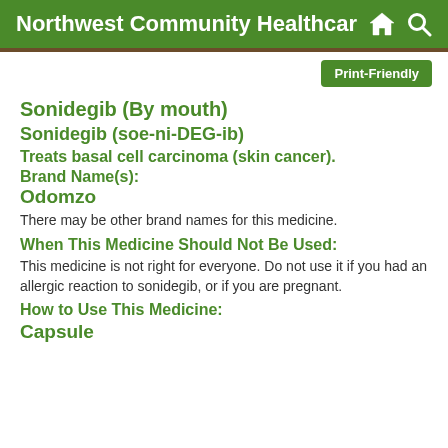Northwest Community Healthcar
Sonidegib (By mouth)
Sonidegib (soe-ni-DEG-ib)
Treats basal cell carcinoma (skin cancer).
Brand Name(s):
Odomzo
There may be other brand names for this medicine.
When This Medicine Should Not Be Used:
This medicine is not right for everyone. Do not use it if you had an allergic reaction to sonidegib, or if you are pregnant.
How to Use This Medicine:
Capsule